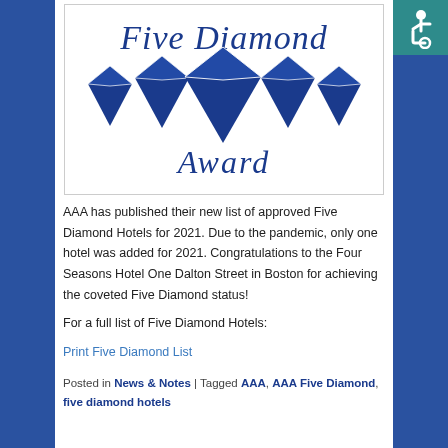[Figure (illustration): Five Diamond Award logo: cursive 'Five Diamond' text in dark blue above five diamond/gem shapes, and cursive 'Award' text below in dark blue]
AAA has published their new list of approved Five Diamond Hotels for 2021. Due to the pandemic, only one hotel was added for 2021. Congratulations to the Four Seasons Hotel One Dalton Street in Boston for achieving the coveted Five Diamond status!
For a full list of Five Diamond Hotels:
Print Five Diamond List
Posted in News & Notes | Tagged AAA, AAA Five Diamond, five diamond hotels